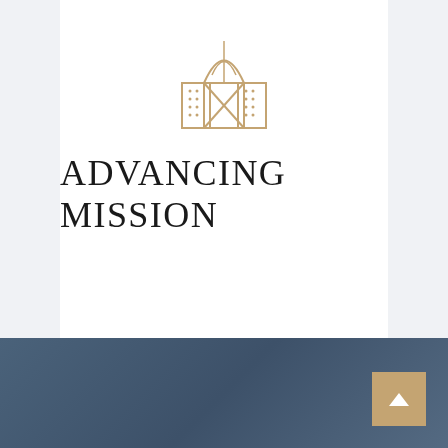[Figure (logo): A building/institution icon drawn in gold/tan outline style, showing a modern building with a curved glass facade on top and two flanking towers with dotted window patterns]
ADVANCING MISSION